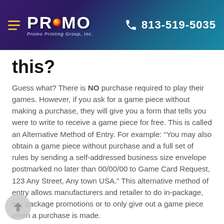PROMO Promo Printing Group, Inc. 813-519-5035
this?
Guess what? There is NO purchase required to play their games. However, if you ask for a game piece without making a purchase, they will give you a form that tells you were to write to receive a game piece for free. This is called an Alternative Method of Entry. For example: “You may also obtain a game piece without purchase and a full set of rules by sending a self-addressed business size envelope postmarked no later than 00/00/00 to Game Card Request, 123 Any Street, Any town USA.” This alternative method of entry allows manufacturers and retailer to do in-package, on- package promotions or to only give out a game piece when a purchase is made.